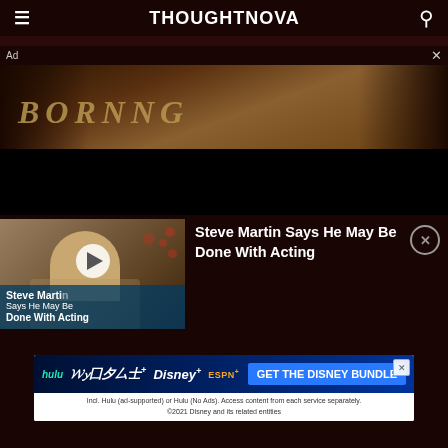THOUGHTNOVA
[Figure (screenshot): Advertisement banner with dark background showing partial text in gold/tan letters]
Ad
[Figure (screenshot): Video thumbnail showing Steve Martin at a red carpet event with text overlay: Steve Martin Says He May Be Done With Acting, with a play button]
Steve Martin Says He May Be Done With Acting
[Figure (screenshot): Disney Bundle advertisement banner showing Hulu, Disney+, ESPN+ logos and GET THE DISNEY BUNDLE button. Fine print: Incl. Hulu (ad-supported) or Hulu (No Ads). Access content from each service separately. ©2021 Disney and its related entities]